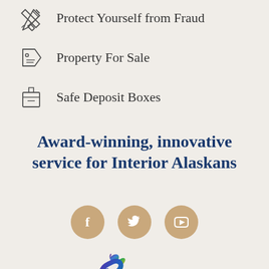Protect Yourself from Fraud
Property For Sale
Safe Deposit Boxes
Award-winning, innovative service for Interior Alaskans
[Figure (infographic): Three social media icons (Facebook, Twitter, YouTube) in tan/beige circles]
[Figure (logo): Spirit of [organization] logo - partial view showing colorful flame/aurora design with mountains and text SPIRIT OF]